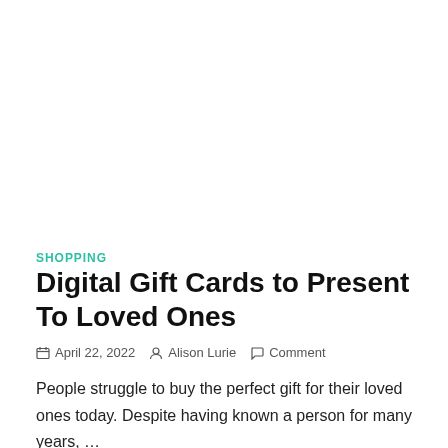SHOPPING
Digital Gift Cards to Present To Loved Ones
April 22, 2022  Alison Lurie  Comment
People struggle to buy the perfect gift for their loved ones today. Despite having known a person for many years, …